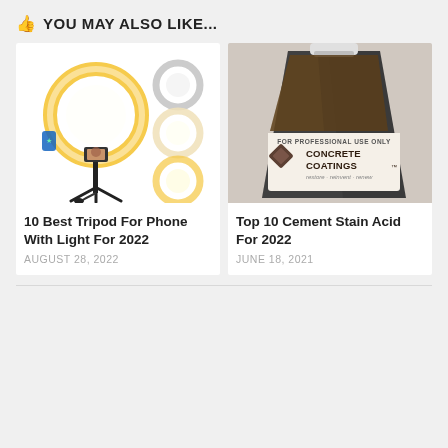YOU MAY ALSO LIKE...
[Figure (photo): Product photo of a tripod ring light kit for phone with LED ring light in multiple sizes shown]
[Figure (photo): Product photo of a large jug of Concrete Coatings acid stain for cement, dark brown liquid visible, label reads FOR PROFESSIONAL USE ONLY CONCRETE COATINGS restore reinvent renew]
10 Best Tripod For Phone With Light For 2022
Top 10 Cement Stain Acid For 2022
AUGUST 28, 2022
JUNE 18, 2021